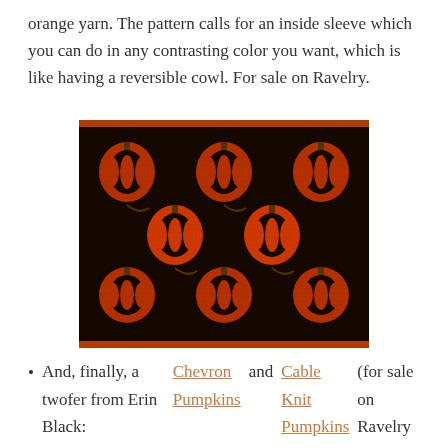orange yarn. The pattern calls for an inside sleeve which you can do in any contrasting color you want, which is like having a reversible cowl. For sale on Ravelry.
[Figure (photo): A knitted cowl with black and orange pumpkin pattern, laid flat on a white surface. The cowl shows a repeating pattern of stylized pumpkins in orange/red on a dark black background.]
And, finally, a twofer from Erin Black: Chevron Pumpkins and Cable Knit Pumpkins (for sale on Ravelry